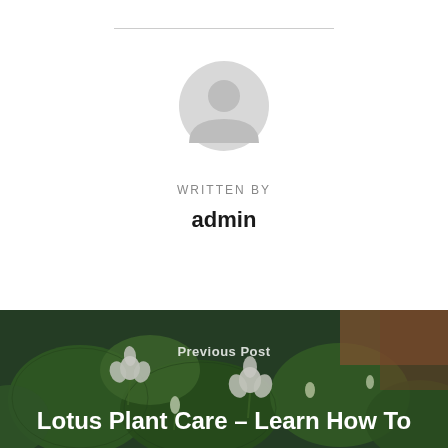[Figure (illustration): Gray default avatar/profile icon — circular silhouette of a person (head and shoulders) in light gray]
WRITTEN BY
admin
[Figure (photo): Lotus plant with white flowers and large green lily pad leaves in water, viewed from above]
Previous Post
Lotus Plant Care – Learn How To